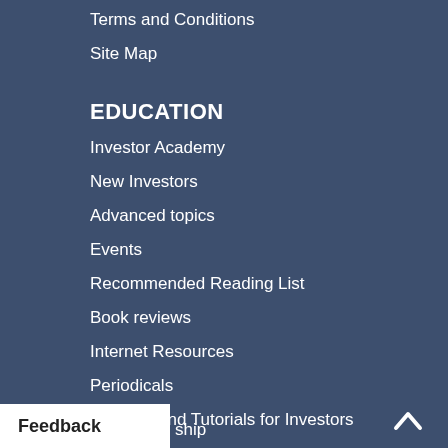Terms and Conditions
Site Map
EDUCATION
Investor Academy
New Investors
Advanced topics
Events
Recommended Reading List
Book reviews
Internet Resources
Periodicals
Courses and Tutorials for Investors
MEMBERSHIP
ship
Feedback